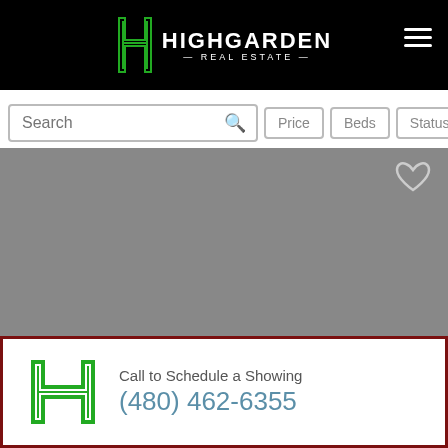[Figure (logo): Highgarden Real Estate logo on black header bar with hamburger menu icon]
[Figure (screenshot): Search bar with Price, Beds, Status filter buttons]
[Figure (photo): Gray property listing image for Home For Sale]
Home For Sale   $599,900   4BR | 3BA
41 Photos   910 W Angus Rd, San Tan Valley 85143
[Figure (photo): Partial gray property listing image second card]
Call to Schedule a Showing
(480) 462-6355